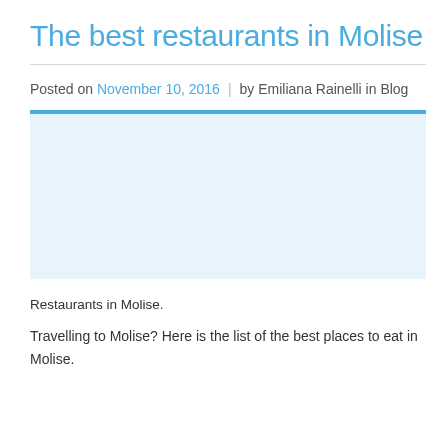The best restaurants in Molise
Posted on November 10, 2016 | by Emiliana Rainelli in Blog
[Figure (photo): Image placeholder area for restaurants in Molise photo]
Restaurants in Molise.
Travelling to Molise? Here is the list of the best places to eat in Molise.